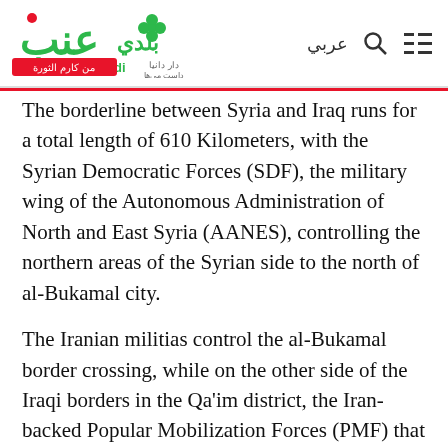Enab Baladi — عربي [logo, search, menu icons]
The borderline between Syria and Iraq runs for a total length of 610 Kilometers, with the Syrian Democratic Forces (SDF), the military wing of the Autonomous Administration of North and East Syria (AANES), controlling the northern areas of the Syrian side to the north of al-Bukamal city.
The Iranian militias control the al-Bukamal border crossing, while on the other side of the Iraqi borders in the Qa'im district, the Iran-backed Popular Mobilization Forces (PMF) that have been incorporated in the Iraqi army since 2018, are in control.
Drug distribution and trafficking activities from Syria to Iraq are not individual, as they are organized and